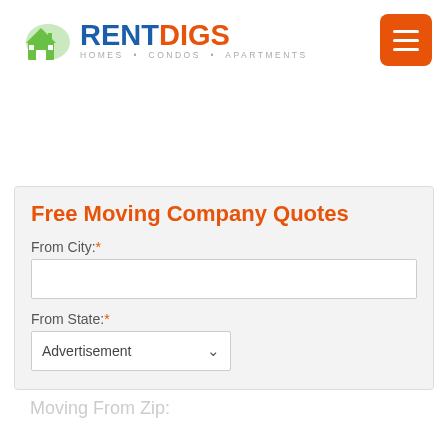[Figure (logo): RentDigs logo with house icon and text RENT DIGS, HOMES • CONDOS • APARTMENTS]
[Figure (other): Orange hamburger menu button with three white horizontal lines]
Free Moving Company Quotes
From City:*
From State:*
Advertisement
Moving From Zip: